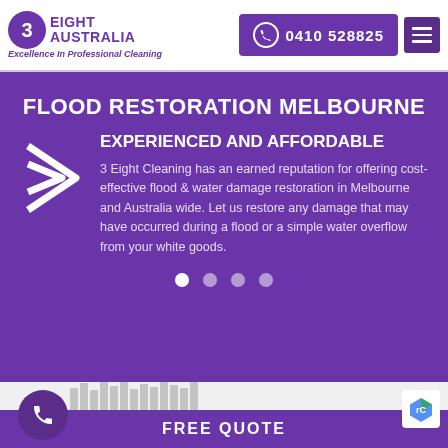[Figure (logo): 3 Eight Australia logo with purple circle containing number 3, brand name '3 EIGHT AUSTRALIA' in purple, tagline 'Excellence In Professional Cleaning' in italic purple]
0410 528825
FLOOD RESTORATION MELBOURNE
EXPERIENCED AND AFFORDABLE
3 Eight Cleaning has an earned reputation for offering cost-effective flood & water damage restoration in Melbourne and Australia wide. Let us restore any damage that may have occurred during a flood or a simple water overflow from your white goods.
FREE QUOTE